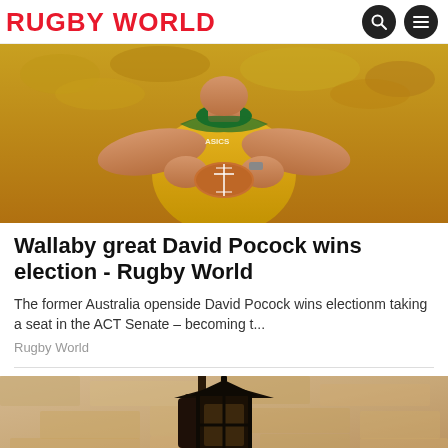RUGBY WORLD
[Figure (photo): Rugby player in yellow Australian Wallabies jersey holding a rugby ball to their chest, muscular arms visible, crowd blurred in background]
Wallaby great David Pocock wins election - Rugby World
The former Australia openside David Pocock wins electionm taking a seat in the ACT Senate – becoming t...
Rugby World
[Figure (photo): A vintage dark metal lantern mounted on a sandy/stone textured wall]